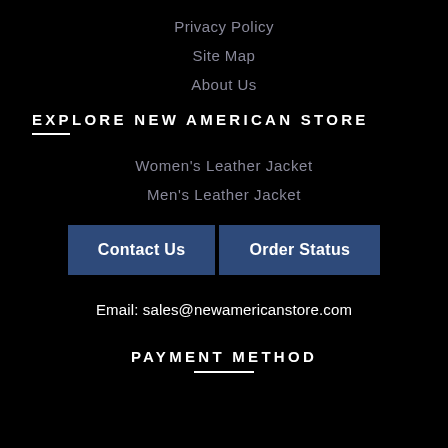Privacy Policy
Site Map
About Us
EXPLORE NEW AMERICAN STORE
Women's Leather Jacket
Men's Leather Jacket
Contact Us
Order Status
Email: sales@newamericanstore.com
PAYMENT METHOD